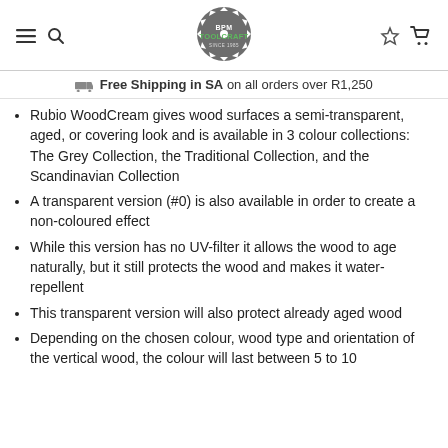BPM TOOLCRAFT SINCE 1985
Free Shipping in SA on all orders over R1,250
Rubio WoodCream gives wood surfaces a semi-transparent, aged, or covering look and is available in 3 colour collections: The Grey Collection, the Traditional Collection, and the Scandinavian Collection
A transparent version (#0) is also available in order to create a non-coloured effect
While this version has no UV-filter it allows the wood to age naturally, but it still protects the wood and makes it water-repellent
This transparent version will also protect already aged wood
Depending on the chosen colour, wood type and orientation of the vertical wood, the colour will last between 5 to 10